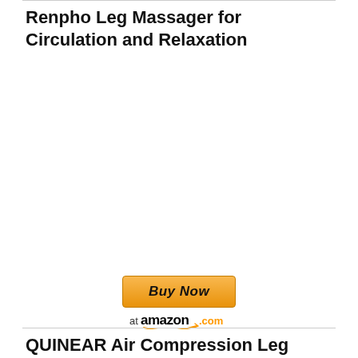Renpho Leg Massager for Circulation and Relaxation
[Figure (other): Buy Now button with Amazon.com logo and smile graphic]
QUINEAR Air Compression Leg Massager for Circulation